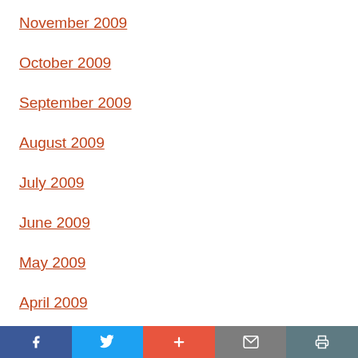November 2009
October 2009
September 2009
August 2009
July 2009
June 2009
May 2009
April 2009
March 2009
Facebook | Twitter | + | Mail | Print